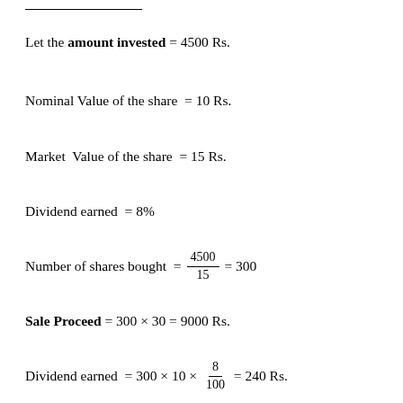Let the amount invested = 4500 Rs.
Nominal Value of the share = 10 Rs.
Market Value of the share = 15 Rs.
Dividend earned = 8%